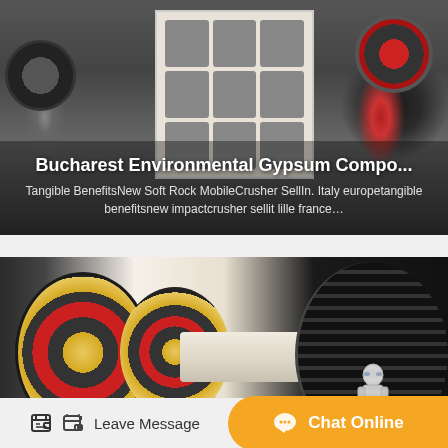[Figure (photo): Industrial jaw crusher machine in factory setting, beige/cream colored body with grid of rectangular openings, dark pulleys and wheels visible on sides]
Bucharest Environmental Gypsum Compo...
Tangible BenefitsNew Soft Rock MobileCrusher SellIn. Italy europetangible benefitsnew impactcrusher sellit lille france…
[Figure (photo): Industrial crusher flywheel/pulley assembly showing large yellow and black drive wheels with red rings and V-belt pulleys, mounted on white base]
Leave Message
Chat Online